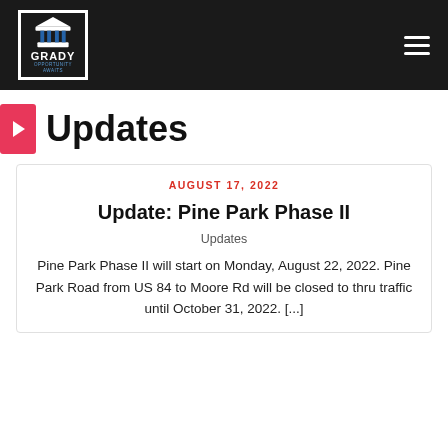GRADY OPPORTUNITY AWAITS — navigation header
Updates
AUGUST 17, 2022
Update: Pine Park Phase II
Updates
Pine Park Phase II will start on Monday, August 22, 2022. Pine Park Road from US 84 to Moore Rd will be closed to thru traffic until October 31, 2022. [...]